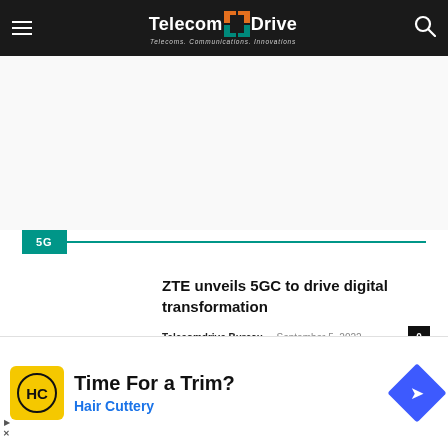TelecomDrive — Telecoms. Communications. Innovations.
5G
ZTE unveils 5GC to drive digital transformation
Telecomdrive Bureau – September 5, 2022 [0 comments]
[Figure (other): Advertisement: Time For a Trim? Hair Cuttery]